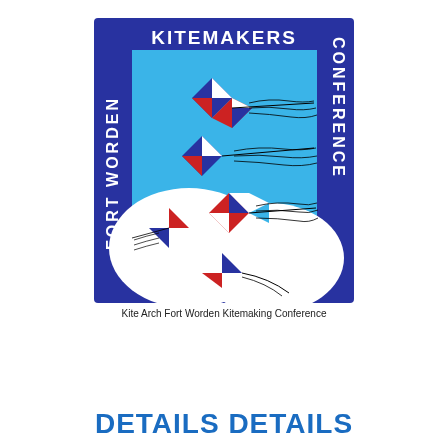[Figure (logo): Fort Worden Kitemakers Conference logo showing a kite arch with red, white, blue geometric kites on a blue background, with 'KITEMAKERS' text at top, 'FORT WORDEN' vertically on left, and 'CONFERENCE' vertically on right.]
Kite Arch Fort Worden Kitemaking Conference
DETAILS DETAILS